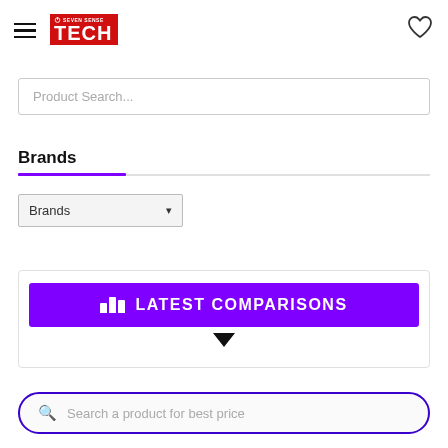[Figure (logo): Seven Sense Tech logo — red background with white TECH text and power icon]
Product Search...
Brands
Brands (dropdown selector)
[Figure (infographic): Purple button with bar chart icon and text LATEST COMPARISONS, with a downward arrow below]
Search a product for best price